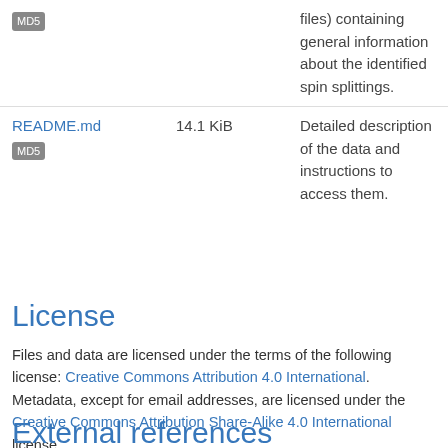| File | Size | Description |
| --- | --- | --- |
| MD5 |  | files) containing general information about the identified spin splittings. |
| README.md MD5 | 14.1 KiB | Detailed description of the data and instructions to access them. |
License
Files and data are licensed under the terms of the following license: Creative Commons Attribution 4.0 International.
Metadata, except for email addresses, are licensed under the Creative Commons Attribution Share-Alike 4.0 International license.
External references